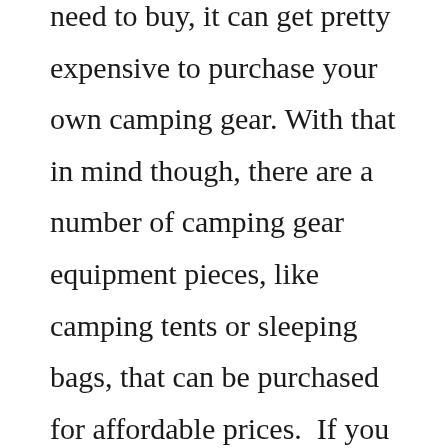need to buy, it can get pretty expensive to purchase your own camping gear. With that in mind though, there are a number of camping gear equipment pieces, like camping tents or sleeping bags, that can be purchased for affordable prices.  If you are looking to camp on a budget, you can still buy your own camping gear, but you just need to know where to look. If you already own your rv, finding the best rv furniture should be the very next thing you do..